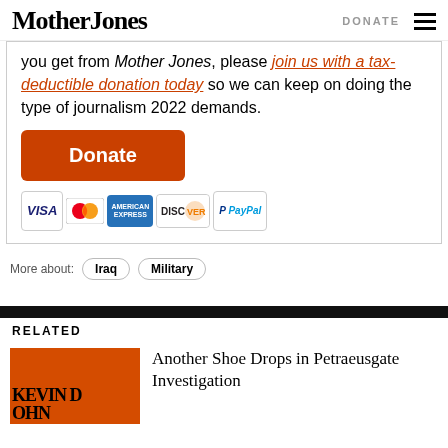Mother Jones | DONATE
you get from Mother Jones, please join us with a tax-deductible donation today so we can keep on doing the type of journalism 2022 demands.
[Figure (other): Donate button (orange) and payment method icons: VISA, MasterCard, American Express, Discover, PayPal]
Iraq
Military
RELATED
Another Shoe Drops in Petraeusgate Investigation